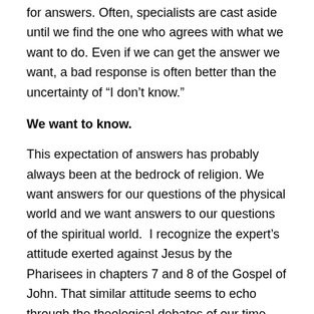for answers. Often, specialists are cast aside until we find the one who agrees with what we want to do. Even if we can get the answer we want, a bad response is often better than the uncertainty of “I don’t know.”
We want to know.
This expectation of answers has probably always been at the bedrock of religion. We want answers for our questions of the physical world and we want answers to our questions of the spiritual world.  I recognize the expert’s attitude exerted against Jesus by the Pharisees in chapters 7 and 8 of the Gospel of John. That similar attitude seems to echo through the theological debates of our time. They provided reason and rationale as to why Jesus was not the Christ.
The crowd answered, “You have a demon! Who is